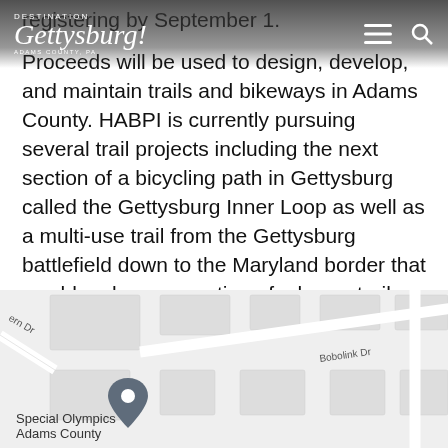DESTINATION Gettysburg! ADAMS COUNTY, PA
registering by September 1.
Proceeds will be used to design, develop, and maintain trails and bikeways in Adams County. HABPI is currently pursuing several trail projects including the next section of a bicycling path in Gettysburg called the Gettysburg Inner Loop as well as a multi-use trail from the Gettysburg battlefield down to the Maryland border that would make up a portion of a larger trail system known as the Grand History Trail.
+TRIP PLAN
[Figure (map): Street map showing Special Olympics Adams County location with a map pin marker. Streets visible include Bobolink Dr, Woodhaven Dr, and a partial street name ending in 'ern Dr'.]